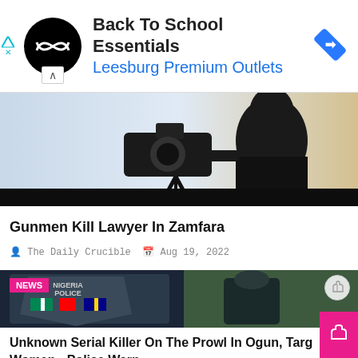[Figure (advertisement): Ad banner: Back To School Essentials at Leesburg Premium Outlets with circular logo and blue diamond arrow icon]
[Figure (photo): Silhouette of a person holding a camera against a bright sky background]
Gunmen Kill Lawyer In Zamfara
The Daily Crucible  Aug 19, 2022
[Figure (photo): Nigeria Police logo/badge on the left and a police officer in tactical gear from behind on the right. NEWS badge visible.]
Unknown Serial Killer On The Prowl In Ogun, Targets Women - Police Warn